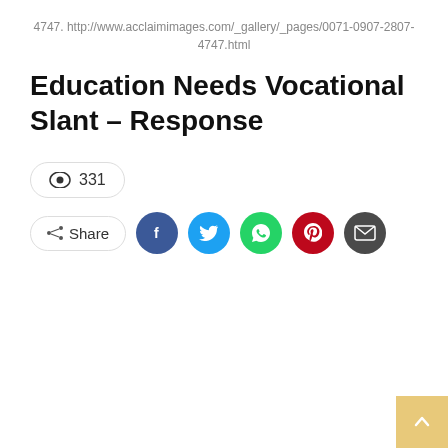4747. http://www.acclaimimages.com/_gallery/_pages/0071-0907-2807-4747.html
Education Needs Vocational Slant – Response
331 views
[Figure (infographic): Share button with social media icons: Facebook (blue), Twitter (light blue), WhatsApp (green), Pinterest (dark red), Email (dark gray), and a back-to-top arrow button]